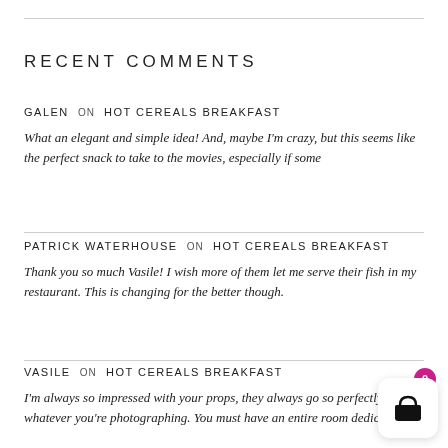RECENT COMMENTS
GALEN  on  HOT CEREALS BREAKFAST
What an elegant and simple idea! And, maybe I'm crazy, but this seems like the perfect snack to take to the movies, especially if some
PATRICK WATERHOUSE  on  HOT CEREALS BREAKFAST
Thank you so much Vasile! I wish more of them let me serve their fish in my restaurant. This is changing for the better though.
VASILE  on  HOT CEREALS BREAKFAST
I'm always so impressed with your props, they always go so perfectly with whatever you're photographing. You must have an entire room dedicated to